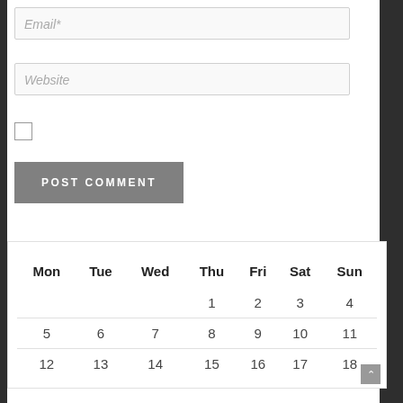[Figure (screenshot): Email input field with placeholder text 'Email*']
[Figure (screenshot): Website input field with placeholder text 'Website']
[Figure (screenshot): Unchecked checkbox]
[Figure (screenshot): POST COMMENT button in gray]
| Mon | Tue | Wed | Thu | Fri | Sat | Sun |
| --- | --- | --- | --- | --- | --- | --- |
|  |  |  | 1 | 2 | 3 | 4 |
| 5 | 6 | 7 | 8 | 9 | 10 | 11 |
| 12 | 13 | 14 | 15 | 16 | 17 | 18 |